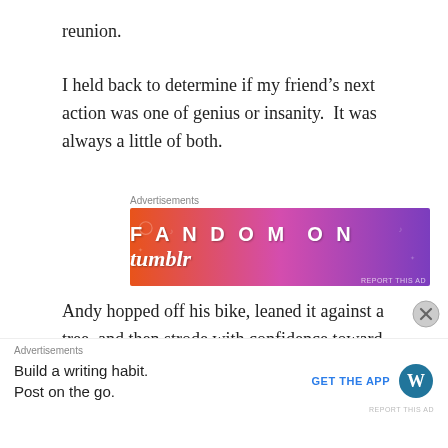reunion.
I held back to determine if my friend’s next action was one of genius or insanity.  It was always a little of both.
[Figure (other): Fandom on Tumblr advertisement banner with gradient orange to purple background and bold white text]
Andy hopped off his bike, leaned it against a tree, and then strode with confidence toward the food.  The chunky Asian kid drew some side glances from the Caucasian clan, but no one said a word as Andy snatched a plate and piled it high as he cruised along
[Figure (other): WordPress app advertisement: Build a writing habit. Post on the go. GET THE APP with WordPress logo]